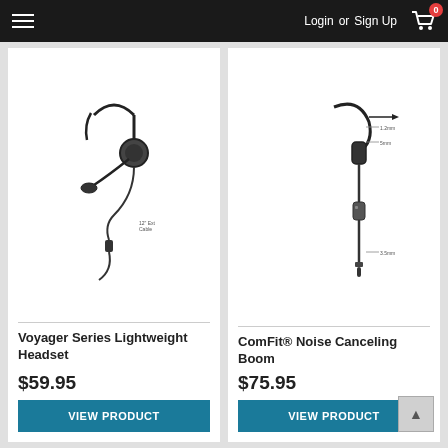Login or Sign Up
[Figure (illustration): Voyager Series Lightweight Headset product diagram showing a single-ear headset with boom microphone and cable]
Voyager Series Lightweight Headset
$59.95
VIEW PRODUCT
[Figure (illustration): ComFit Noise Canceling Boom product diagram showing an ear-hook style headset with boom microphone and cable with inline control]
ComFit® Noise Canceling Boom
$75.95
VIEW PRODUCT